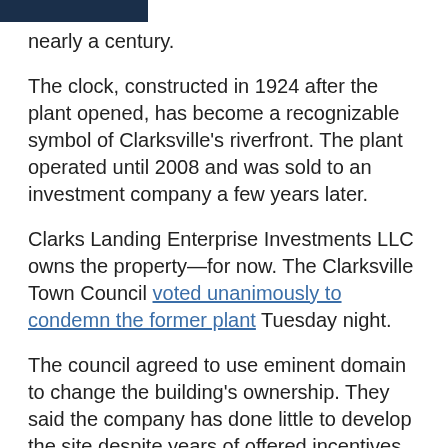nearly a century.
The clock, constructed in 1924 after the plant opened, has become a recognizable symbol of Clarksville's riverfront. The plant operated until 2008 and was sold to an investment company a few years later.
Clarks Landing Enterprise Investments LLC owns the property—for now. The Clarksville Town Council voted unanimously to condemn the former plant Tuesday night.
The council agreed to use eminent domain to change the building's ownership. They said the company has done little to develop the site despite years of offered incentives.
...